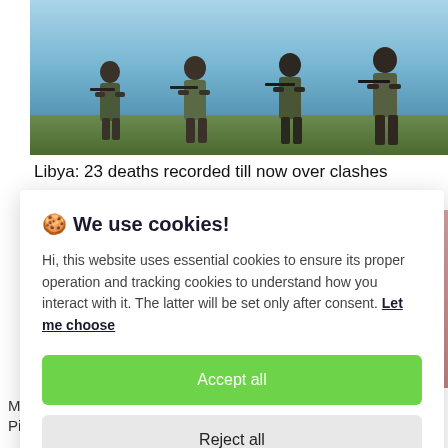[Figure (photo): Photo of armed soldiers/fighters in tactical gear against a blue sky background, seen from the front, appearing to advance.]
Libya: 23 deaths recorded till now over clashes
🍪 We use cookies!

Hi, this website uses essential cookies to ensure its proper operation and tracking cookies to understand how you interact with it. The latter will be set only after consent. Let me choose

Accept all

Reject all
Man Caught With Spy App In Phone, Taking Pictures Of Churchill's School